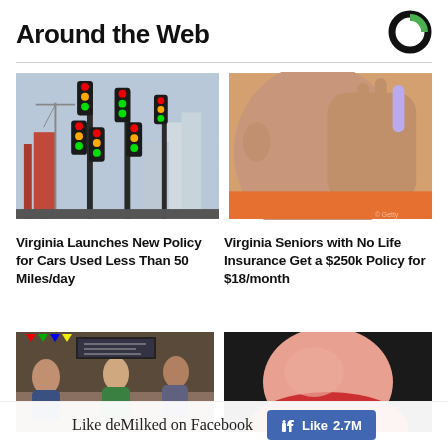Around the Web
[Figure (logo): Circular logo with black and green quadrants]
[Figure (photo): Multiple traffic lights arranged like trees, city construction in background]
Virginia Launches New Policy for Cars Used Less Than 50 Miles/day
[Figure (photo): Close-up of elderly person's face with hand raised near forehead]
Virginia Seniors with No Life Insurance Get a $250k Policy for $18/month
[Figure (photo): People standing in a diner or cafeteria, person in green shirt visible]
[Figure (photo): Close-up of person in red/orange textured clothing on dark background]
Like deMilked on Facebook
Like 2.7M